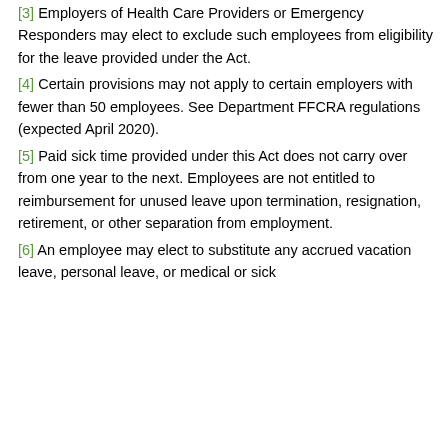[3] Employers of Health Care Providers or Emergency Responders may elect to exclude such employees from eligibility for the leave provided under the Act.
[4] Certain provisions may not apply to certain employers with fewer than 50 employees. See Department FFCRA regulations (expected April 2020).
[5] Paid sick time provided under this Act does not carry over from one year to the next. Employees are not entitled to reimbursement for unused leave upon termination, resignation, retirement, or other separation from employment.
[6] An employee may elect to substitute any accrued vacation leave, personal leave, or medical or sick